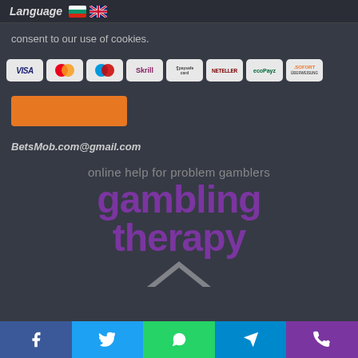Language 🇧🇬 🇬🇧
consent to our use of cookies.
[Figure (other): Payment method logos: VISA, MasterCard, Maestro, Skrill, paysafecard, NETELLER, ecoPayz, SOFORT Überweisung]
[Figure (other): Orange button (call to action)]
BetsMob.com@gmail.com
[Figure (logo): Gambling Therapy logo: 'online help for problem gamblers' tagline above large purple text 'gambling therapy' with chevron mark]
Social share buttons: Facebook, Twitter, WhatsApp, Telegram, Phone